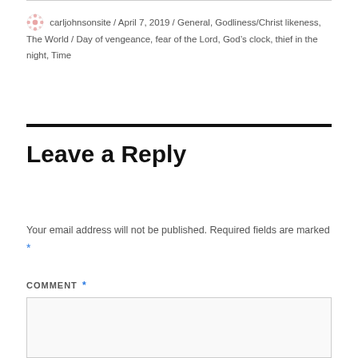carljohnsonsite / April 7, 2019 / General, Godliness/Christ likeness, The World / Day of vengeance, fear of the Lord, God’s clock, thief in the night, Time
Leave a Reply
Your email address will not be published. Required fields are marked *
COMMENT *